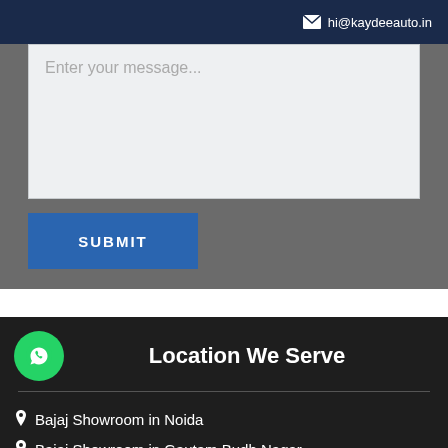hi@kaydeeauto.in
Enter your message...
SUBMIT
Location We Serve
Bajaj Showroom in Noida
Bajaj Showroom in Gautam Budh Nagar
Bajaj Showroom in Delhi NCR